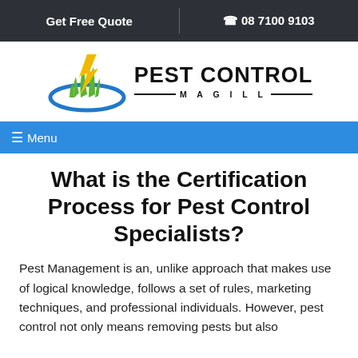Get Free Quote  |  ☎ 08 7100 9103
[Figure (logo): Pest Control Magill logo with lightning bolt, green grass and blue ellipse graphic, with bold text PEST CONTROL and MAGILL subtitle]
≡ Menu
What is the Certification Process for Pest Control Specialists?
Pest Management is an, unlike approach that makes use of logical knowledge, follows a set of rules, marketing techniques, and professional individuals. However, pest control not only means removing pests but also